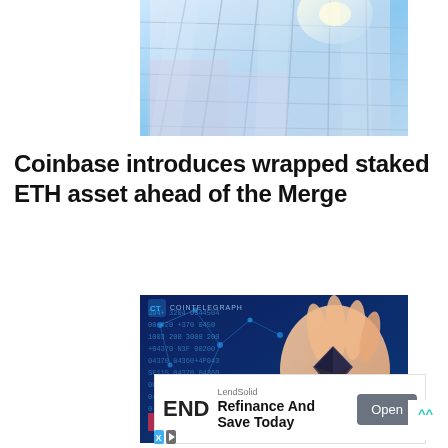[Figure (photo): Glass building facade with blue sky and sunlight reflection, viewed from below]
Coinbase introduces wrapped staked ETH asset ahead of the Merge
[Figure (photo): Cointelegraph branded image showing a hand holding an Ethereum coin with digital blue network background and binary/numeric code overlay]
[Figure (other): Advertisement: LendSolid - END - Refinance And Save Today - Open button]